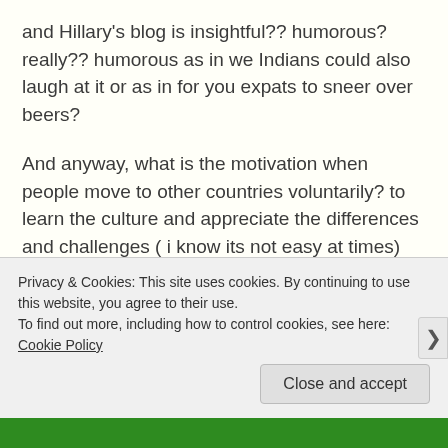and Hillary's blog is insightful?? humorous? really?? humorous as in we Indians could also laugh at it or as in for you expats to sneer over beers?
And anyway, what is the motivation when people move to other countries voluntarily? to learn the culture and appreciate the differences and challenges ( i know its not easy at times) being an expat offers or to bitch about their host country on their self-important I-am-not-judging-just-observing blogs?
Privacy & Cookies: This site uses cookies. By continuing to use this website, you agree to their use.
To find out more, including how to control cookies, see here: Cookie Policy
Close and accept